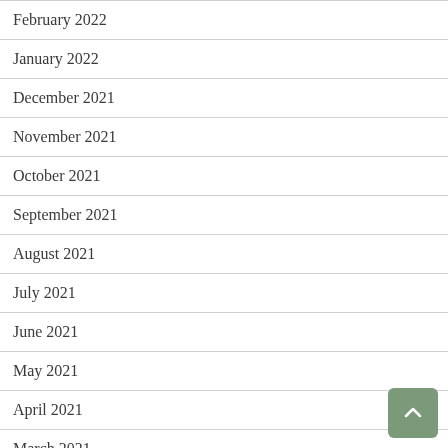February 2022
January 2022
December 2021
November 2021
October 2021
September 2021
August 2021
July 2021
June 2021
May 2021
April 2021
March 2021
February 2021
January 2021
November 2020